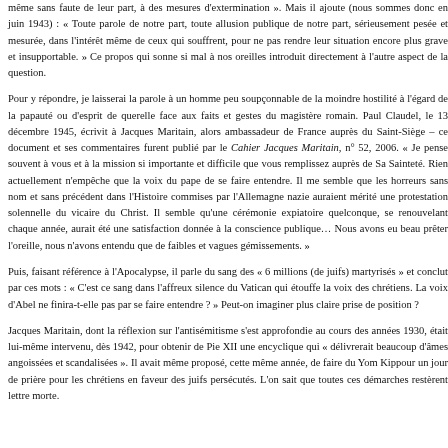même sans faute de leur part, à des mesures d'extermination ». Mais il ajoute (nous sommes donc en juin 1943) : « Toute parole de notre part, toute allusion publique de notre part, sérieusement pesée et mesurée, dans l'intérêt même de ceux qui souffrent, pour ne pas rendre leur situation encore plus grave et insupportable. » Ce propos qui sonne si mal à nos oreilles introduit directement à l'autre aspect de la question.
Pour y répondre, je laisserai la parole à un homme peu soupçonnable de la moindre hostilité à l'égard de la papauté ou d'esprit de querelle face aux faits et gestes du magistère romain. Paul Claudel, le 13 décembre 1945, écrivit à Jacques Maritain, alors ambassadeur de France auprès du Saint-Siège – ce document et ses commentaires furent publié par le Cahier Jacques Maritain, n° 52, 2006. « Je pense souvent à vous et à la mission si importante et difficile que vous remplissez auprès de Sa Sainteté. Rien actuellement n'empêche que la voix du pape de se faire entendre. Il me semble que les horreurs sans nom et sans précédent dans l'Histoire commises par l'Allemagne nazie auraient mérité une protestation solennelle du vicaire du Christ. Il semble qu'une cérémonie expiatoire quelconque, se renouvelant chaque année, aurait été une satisfaction donnée à la conscience publique… Nous avons eu beau prêter l'oreille, nous n'avons entendu que de faibles et vagues gémissements. »
Puis, faisant référence à l'Apocalypse, il parle du sang des « 6 millions (de juifs) martyrisés » et conclut par ces mots : « C'est ce sang dans l'affreux silence du Vatican qui étouffe la voix des chrétiens. La voix d'Abel ne finira-t-elle pas par se faire entendre ? » Peut-on imaginer plus claire prise de position ?
Jacques Maritain, dont la réflexion sur l'antisémitisme s'est approfondie au cours des années 1930, était lui-même intervenu, dès 1942, pour obtenir de Pie XII une encyclique qui « délivrerait beaucoup d'âmes angoissées et scandalisées ». Il avait même proposé, cette même année, de faire du Yom Kippour un jour de prière pour les chrétiens en faveur des juifs persécutés. L'on sait que toutes ces démarches restèrent lettre morte.